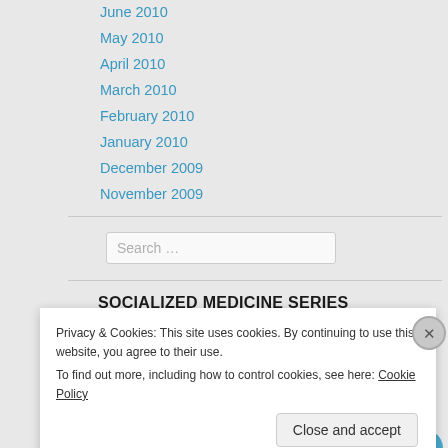June 2010
May 2010
April 2010
March 2010
February 2010
January 2010
December 2009
November 2009
SOCIALIZED MEDICINE SERIES
Privacy & Cookies: This site uses cookies. By continuing to use this website, you agree to their use. To find out more, including how to control cookies, see here: Cookie Policy
Close and accept